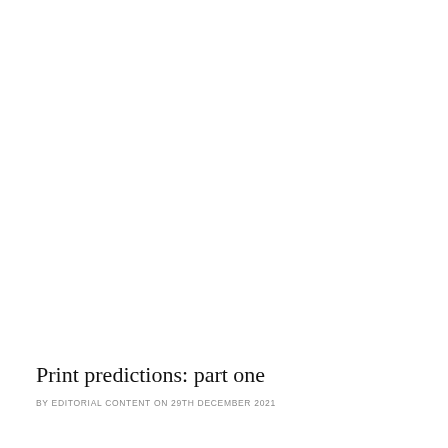Print predictions: part one
BY EDITORIAL CONTENT ON 29TH DECEMBER 2021